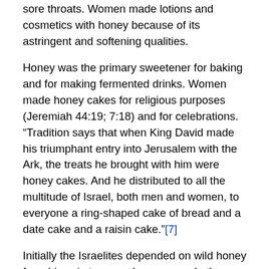sore throats. Women made lotions and cosmetics with honey because of its astringent and softening qualities.
Honey was the primary sweetener for baking and for making fermented drinks. Women made honey cakes for religious purposes (Jeremiah 44:19; 7:18) and for celebrations. “Tradition says that when King David made his triumphant entry into Jerusalem with the Ark, the treats he brought with him were honey cakes. And he distributed to all the multitude of Israel, both men and women, to everyone a ring-shaped cake of bread and a date cake and a raisin cake.”[7]
Initially the Israelites depended on wild honey from hives in trees and caves…and other interesting places. Samson found a cache of honey in the carcass of a lion, prompting his riddle for wedding guests (Judges 14:8). In time honey